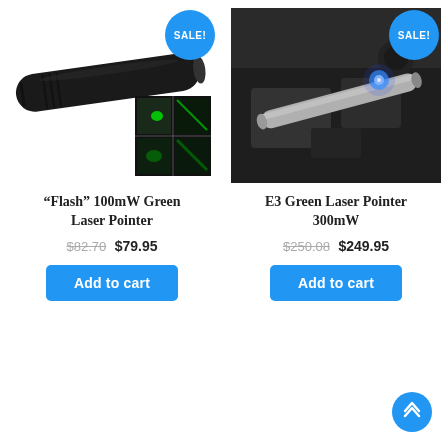[Figure (photo): Black laser pointer pen with green laser beam effect thumbnails, with blue SALE! badge]
[Figure (photo): Silver laser pointer with blue laser dot visible, resting on dark camera body, with blue SALE! badge]
“Flash” 100mW Green Laser Pointer
$82.70 $79.95
Add to cart
E3 Green Laser Pointer 300mW
$250.08 $249.95
Add to cart